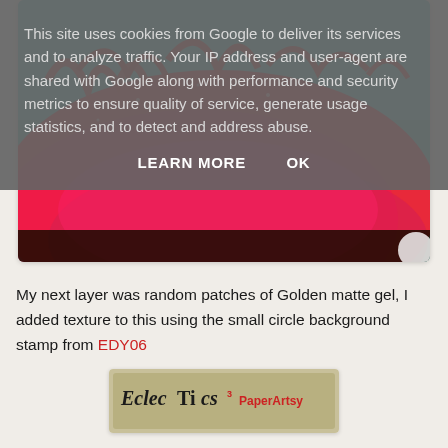This site uses cookies from Google to deliver its services and to analyze traffic. Your IP address and user-agent are shared with Google along with performance and security metrics to ensure quality of service, generate usage statistics, and to detect and address abuse.
LEARN MORE    OK
[Figure (photo): Abstract painting with red/pink and teal colors, textured brushstrokes creating a landscape-like composition]
My next layer was random patches of Golden matte gel, I added texture to this using the small circle background stamp from EDY06
[Figure (photo): Partial view of a product label reading 'EclecTics PaperArtsy' with decorative text styling]